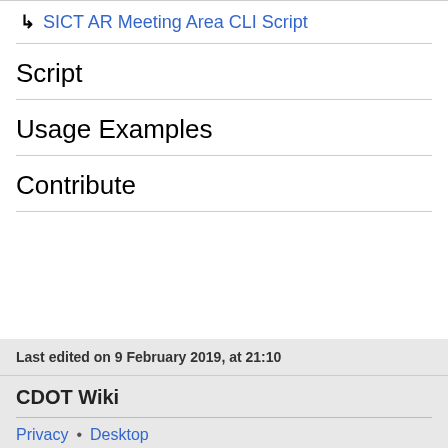↳ SICT AR Meeting Area CLI Script
Script
Usage Examples
Contribute
Last edited on 9 February 2019, at 21:10
CDOT Wiki
Privacy • Desktop